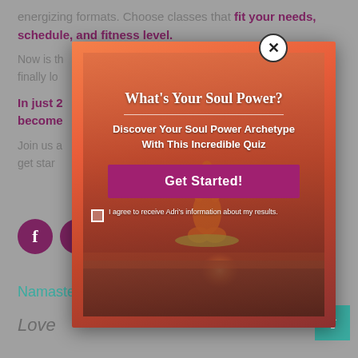energizing formats. Choose classes that fit your needs, schedule, and fitness level.
Now is th... and finally lo...
In just 2... u can become...
Join us a... here to get star...
[Figure (screenshot): Popup modal overlay with gradient background showing a yoga pose. Contains title 'What's Your Soul Power?', subtitle 'Discover Your Soul Power Archetype With This Incredible Quiz', a pink 'Get Started!' button, and a checkbox for consent. A close button (X) is in the top-right corner.]
Namaste!
Love